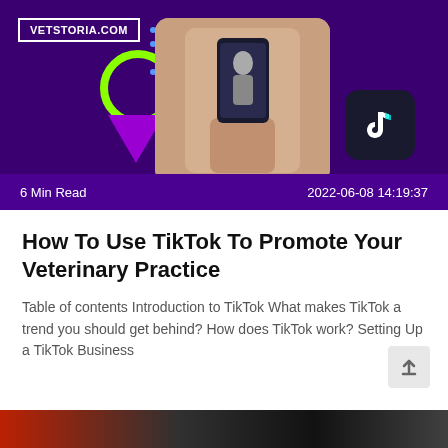[Figure (screenshot): Hero banner with purple background showing VETSTORIA.COM logo box, decorative green circle, purple triangle, blue dot pattern, a photo of hands holding a smartphone recording video, and a TikTok app icon]
VETSTORIA.COM
6 Min Read
2022-06-08 14:19:37
How To Use TikTok To Promote Your Veterinary Practice
Table of contents Introduction to TikTok What makes TikTok a trend you should get behind? How does TikTok work? Setting Up a TikTok Business
[Figure (photo): Bottom strip showing dark image, partially visible]